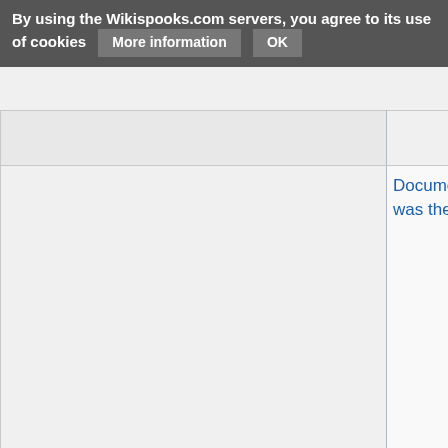Related Document
By using the Wikispooks.com servers, you agree to its use of cookies   More information   OK
|  | Title ⬦ | Type ⬦ | Publication date |
| --- | --- | --- | --- |
|  | Document:Pan Am Flight 103: It was the Uranium | article | 6 January 2014 |